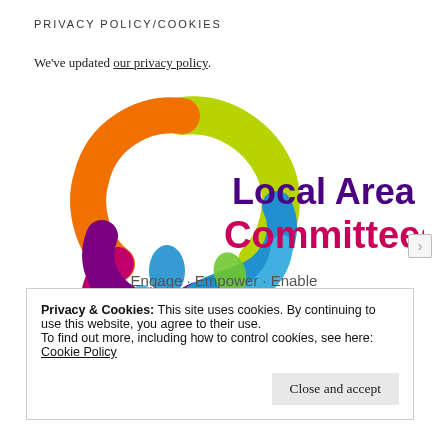PRIVACY POLICY/COOKIES
We've updated our privacy policy.
[Figure (logo): Local Area Committees logo with colorful spiral/circle graphic, text 'Local Area Committees' in purple and pink, tagline 'Engage · Empower · Enable']
Privacy & Cookies: This site uses cookies. By continuing to use this website, you agree to their use.
To find out more, including how to control cookies, see here:
Cookie Policy
Close and accept